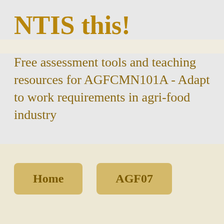NTIS this!
Free assessment tools and teaching resources for AGFCMN101A - Adapt to work requirements in agri-food industry
Home
AGF07